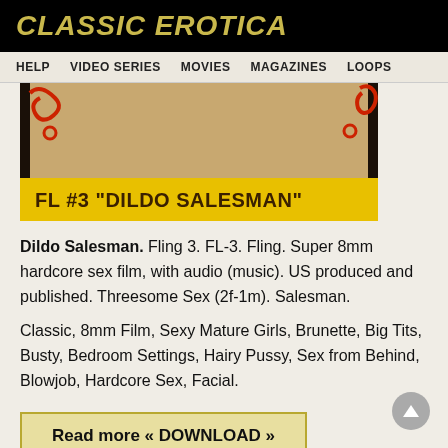CLASSIC EROTICA
HELP   VIDEO SERIES   MOVIES   MAGAZINES   LOOPS
[Figure (photo): VHS/Super 8mm film cover image showing 'FL #3 DILDO SALESMAN' with yellow label on dark background]
Dildo Salesman. Fling 3. FL-3. Fling. Super 8mm hardcore sex film, with audio (music). US produced and published. Threesome Sex (2f-1m). Salesman.
Classic, 8mm Film, Sexy Mature Girls, Brunette, Big Tits, Busty, Bedroom Settings, Hairy Pussy, Sex from Behind, Blowjob, Hardcore Sex, Facial.
Read more « DOWNLOAD »